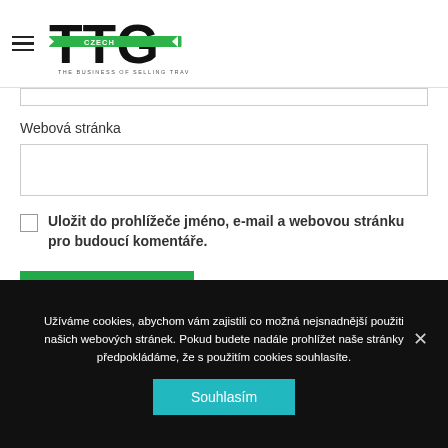TTG Czech — The Business of Selling Travel
Webová stránka
Uložit do prohlížeče jméno, e-mail a webovou stránku pro budoucí komentáře.
Odeslat komentář
Užíváme cookies, abychom vám zajistili co možná nejsnadnější použiti našich webových stránek. Pokud budete nadále prohlížet naše stránky předpokládáme, že s použitím cookies souhlasíte.
Souhlasím